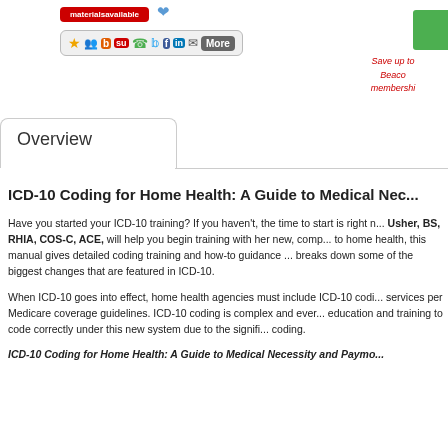[Figure (other): Red promotional badge reading 'materials available' with blue heart icon]
[Figure (other): Social sharing toolbar with icons: star, group, b, su, phone, twitter, facebook, linkedin, mail, More button]
[Figure (other): Green button partially visible at top right, with red italic text 'Save up to... Beaco... membershi...']
Overview
ICD-10 Coding for Home Health: A Guide to Medical Nec...
Have you started your ICD-10 training? If you haven't, the time to start is right n... Usher, BS, RHIA, COS-C, ACE, will help you begin training with her new, comp... to home health, this manual gives detailed coding training and how-to guidance ... breaks down some of the biggest changes that are featured in ICD-10.
When ICD-10 goes into effect, home health agencies must include ICD-10 codi... services per Medicare coverage guidelines. ICD-10 coding is complex and ever... education and training to code correctly under this new system due to the signifi... coding.
ICD-10 Coding for Home Health: A Guide to Medical Necessity and Paymo...